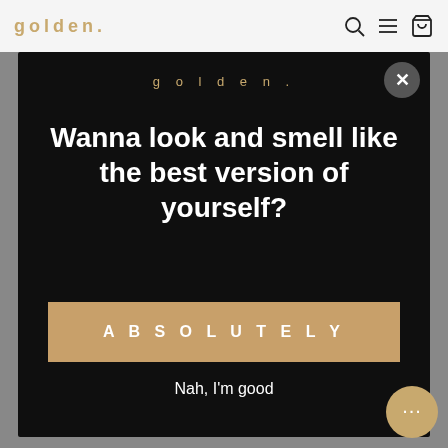golden.
golden.
Wanna look and smell like the best version of yourself?
ABSOLUTELY
Nah, I'm good